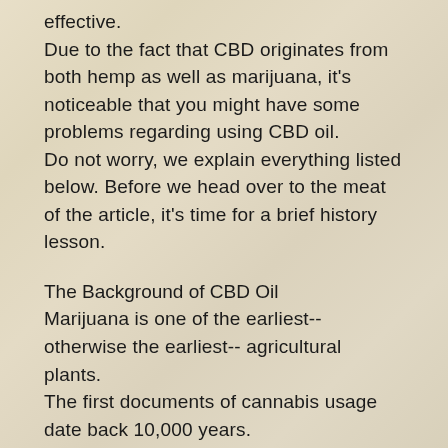effective.
Due to the fact that CBD originates from both hemp as well as marijuana, it's noticeable that you might have some problems regarding using CBD oil.
Do not worry, we explain everything listed below. Before we head over to the meat of the article, it's time for a brief history lesson.
The Background of CBD Oil
Marijuana is one of the earliest-- otherwise the earliest-- agricultural plants.
The first documents of cannabis usage date back 10,000 years.
partially cut off text at bottom